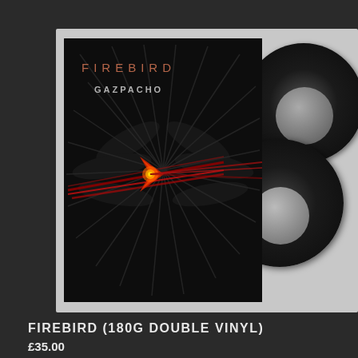[Figure (photo): Product photo showing the Gazpacho Firebird album on 180g double vinyl. On the left is the album cover with dark background, stylized bird/arrow artwork in red and orange tones, with text 'FIREBIRD' and 'GAZPACHO'. To the right are two black vinyl LP records slightly overlapping, showing their circular form with light grey center labels.]
FIREBIRD (180G DOUBLE VINYL)
£35.00